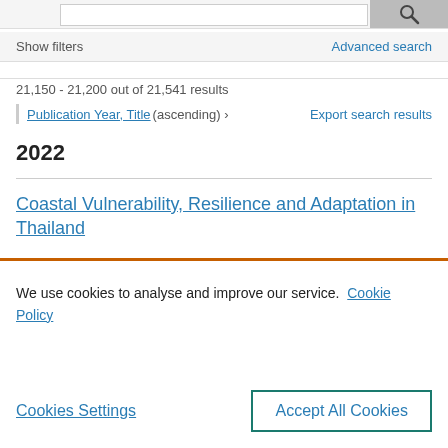[Figure (screenshot): Search bar and icon at top of page]
Show filters
Advanced search
21,150 - 21,200 out of 21,541 results
Publication Year, Title (ascending) >
Export search results
2022
Coastal Vulnerability, Resilience and Adaptation in Thailand
We use cookies to analyse and improve our service. Cookie Policy
Cookies Settings
Accept All Cookies